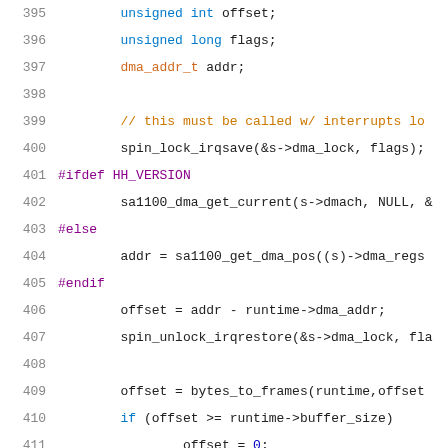Source code listing, lines 395-415
395    unsigned int offset;
396    unsigned long flags;
397    dma_addr_t addr;
398
399    // this must be called w/ interrupts lo
400    spin_lock_irqsave(&s->dma_lock, flags);
401 #ifdef HH_VERSION
402    sa1100_dma_get_current(s->dmach, NULL, &
403 #else
404    addr = sa1100_get_dma_pos((s)->dma_regs
405 #endif
406    offset = addr - runtime->dma_addr;
407    spin_unlock_irqrestore(&s->dma_lock, fla
408
409    offset = bytes_to_frames(runtime,offset
410    if (offset >= runtime->buffer_size)
411        offset = 0;
412
413    return offset;
414 }
415